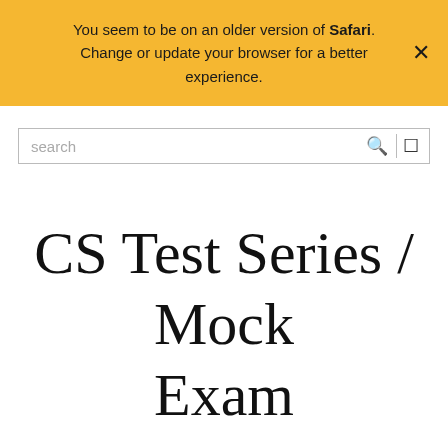You seem to be on an older version of Safari. Change or update your browser for a better experience.
CS Test Series / Mock Exam